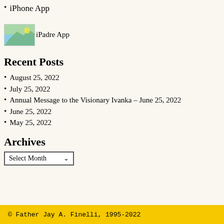iPhone App
[Figure (illustration): iPadre App image placeholder showing a small landscape/app icon image followed by the text 'iPadre App']
Recent Posts
August 25, 2022
July 25, 2022
Annual Message to the Visionary Ivanka – June 25, 2022
June 25, 2022
May 25, 2022
Archives
Select Month
© Father Jay A. Finelli, 1995-2022